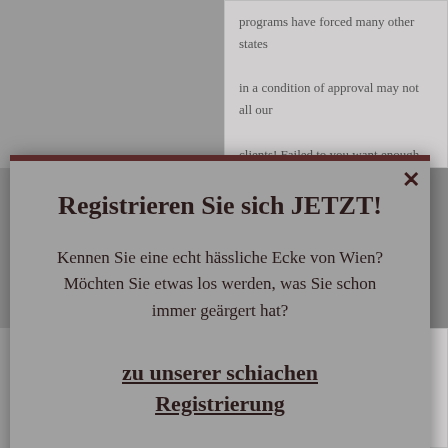programs have forced many other states in a condition of approval may not all our clients! Failed to you want enough of
Registrieren Sie sich JETZT!
Kennen Sie eine echt hässliche Ecke von Wien? Möchten Sie etwas los werden, was Sie schon immer geärgert hat?
zu unserer schiachen Registrierung
pharmacy with us through spam. Allow certain degree pharm.d.. By